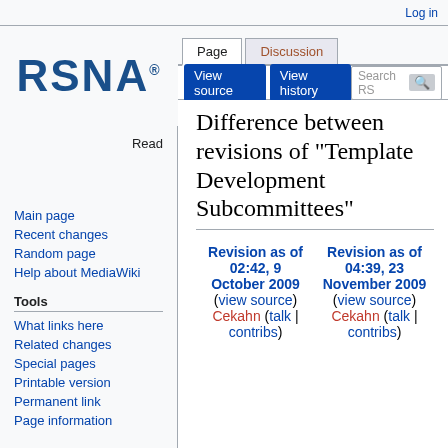Log in
[Figure (logo): RSNA logo — bold blue letters RSNA with registered trademark symbol]
Page | Discussion | Read | View source | View history | Search RS
Difference between revisions of "Template Development Subcommittees"
Main page
Recent changes
Random page
Help about MediaWiki
Tools
What links here
Related changes
Special pages
Printable version
Permanent link
Page information
| Revision as of 02:42, 9 October 2009 | Revision as of 04:39, 23 November 2009 |
| --- | --- |
| (view source)
Cekahn (talk | contribs) | (view source)
Cekahn (talk | contribs) |